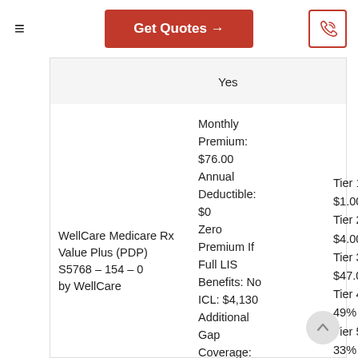Get Quotes →
Yes
WellCare Medicare Rx Value Plus (PDP)
S5768 – 154 – 0
by WellCare
Monthly Premium: $76.00
Annual Deductible: $0
Zero Premium If Full LIS Benefits: No
ICL: $4,130
Additional Gap Coverage: No
Tier 1: $1.00
Tier 2: $4.00
Tier 3: $47.00
Tier 4: 49%
Tier 5: 33%